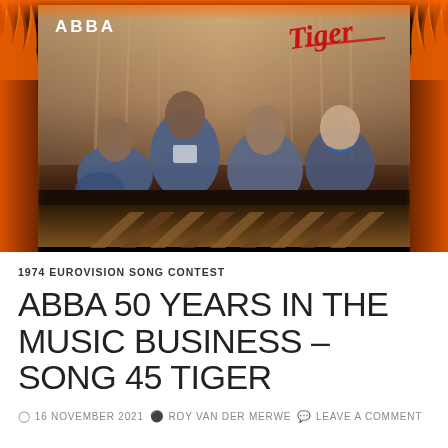[Figure (photo): ABBA Tiger single album cover with flame border. Shows the four ABBA members in blue denim outfits seated/posed together, with 'ABBA' text in white top-left and 'Tiger' in red italic script top-right. Black and flame-orange border surrounds the central photo.]
1974 EUROVISION SONG CONTEST
ABBA 50 YEARS IN THE MUSIC BUSINESS – SONG 45 TIGER
16 NOVEMBER 2021   ROY VAN DER MERWE   LEAVE A COMMENT